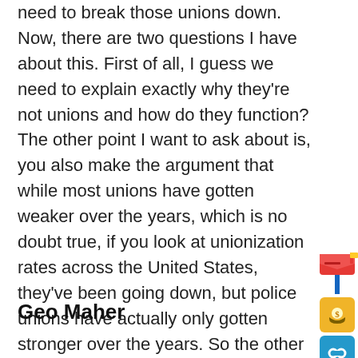need to break those unions down. Now, there are two questions I have about this. First of all, I guess we need to explain exactly why they're not unions and how do they function? The other point I want to ask about is, you also make the argument that while most unions have gotten weaker over the years, which is no doubt true, if you look at unionization rates across the United States, they've been going down, but police unions have actually only gotten stronger over the years. So the other question is, well, why is that? So first, what is it about police unions that makes them not really unions? How are they different, in other words, and secondly, how do they get stronger?
Geo Maher